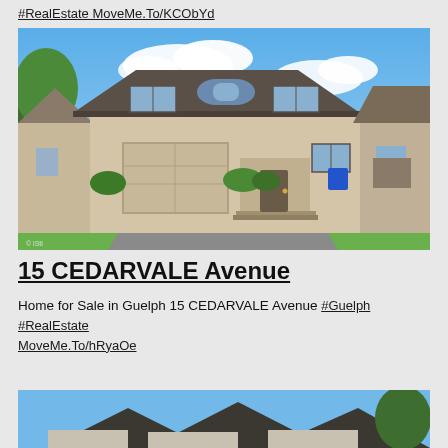#RealEstate MoveMe.To/KCObYd
[Figure (photo): Exterior photo of a two-storey brick and stucco house with attached garage, green lawn, and trees in the background on a sunny day.]
15 CEDARVALE Avenue
Home for Sale in Guelph 15 CEDARVALE Avenue #Guelph #RealEstate MoveMe.To/hRyaOe
[Figure (photo): Partial exterior photo of a house with blue sky background, showing roofline and trees, cropped at bottom of page.]